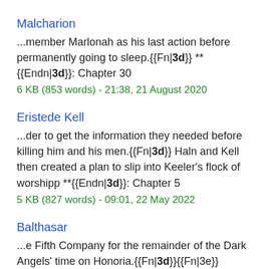Malcharion
...member Marlonah as his last action before permanently going to sleep.{{Fn|3d}} **{{Endn|3d}}: Chapter 30
6 KB (853 words) - 21:38, 21 August 2020
Eristede Kell
...der to get the information they needed before killing him and his men.{{Fn|3d}} Haln and Kell then created a plan to slip into Keeler's flock of worshipp **{{Endn|3d}}: Chapter 5
5 KB (827 words) - 09:01, 22 May 2022
Balthasar
...e Fifth Company for the remainder of the Dark Angels' time on Honoria.{{Fn|3d}}{{Fn|3e}} Although Ezekiel decided that Balthasar was worthy of a positio **